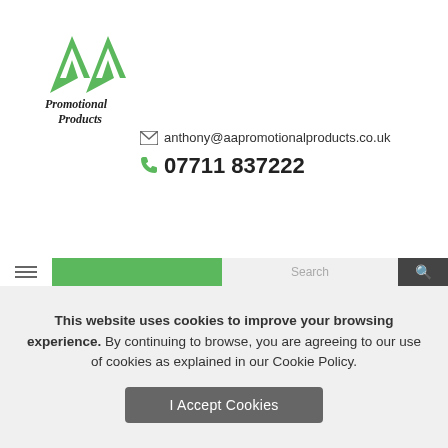[Figure (logo): AA Promotional Products logo with green triangle/mountain shape and handwritten-style text]
anthony@aapromotionalproducts.co.uk
07711 837222
This website uses cookies to improve your browsing experience. By continuing to browse, you are agreeing to our use of cookies as explained in our Cookie Policy.
I Accept Cookies